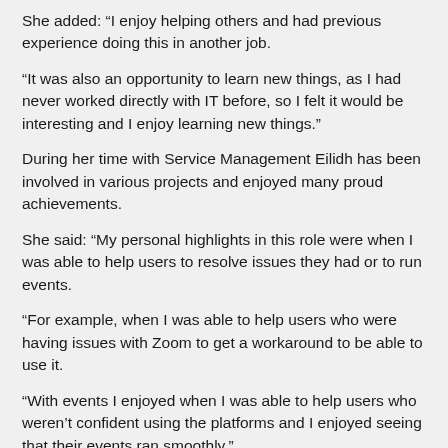She added: “I enjoy helping others and had previous experience doing this in another job.
“It was also an opportunity to learn new things, as I had never worked directly with IT before, so I felt it would be interesting and I enjoy learning new things.”
During her time with Service Management Eilidh has been involved in various projects and enjoyed many proud achievements.
She said: “My personal highlights in this role were when I was able to help users to resolve issues they had or to run events.
“For example, when I was able to help users who were having issues with Zoom to get a workaround to be able to use it.
“With events I enjoyed when I was able to help users who weren’t confident using the platforms and I enjoyed seeing that their events ran smoothly.”
Eilidh also illustrated her abilities and versatility in surmounting the challenges of having to adapt to new and unprecedented ways of working when the covid pandemic broke just months after starting her job.
She said: “Covid just completely changed the job altogether. No one was really using Teams before that and then from March [2020]